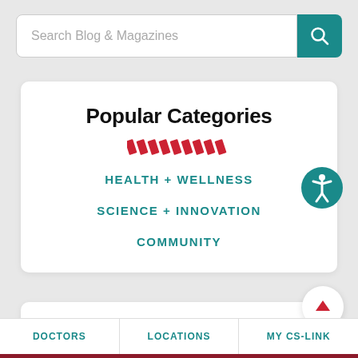[Figure (screenshot): Search bar with placeholder text 'Search Blog & Magazines' and a teal search button with magnifying glass icon]
Popular Categories
[Figure (illustration): Red diagonal stripes decorative element]
HEALTH + WELLNESS
SCIENCE + INNOVATION
COMMUNITY
[Figure (illustration): Accessibility icon - blue circle with white person figure]
Blog & Magazines
[Figure (illustration): Back to top button - white circle with red upward arrow]
DOCTORS   LOCATIONS   MY CS-LINK